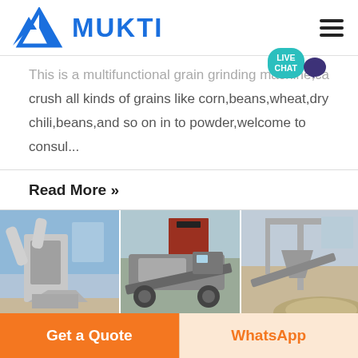[Figure (logo): Mukti company logo with blue triangular mountain icon and bold blue MUKTI text]
This is a multifunctional grain grinding machine,can crush all kinds of grains like corn,beans,wheat,dry chili,beans,and so on in to powder,welcome to consul...
Read More »
[Figure (photo): Three industrial machinery photos side by side: left shows a milling/grinding machine with ducts, center shows a mobile crusher on a truck, right shows a quarry/mining processing plant.]
Get a Quote
WhatsApp